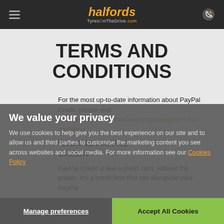halfords TyresOnTheDrive.com
TERMS AND CONDITIONS
For the most up-to-date information about PayPal Credit, please visit www.paypal.com/uk/webapps/mpp/paypal-virtual-credit/faq
WHAT IS PAYPAL CREDIT?
PayPal Credit is like a credit card, without the plastic. It's a credit limit that sits alongside your PayPal
We value your privacy
We use cookies to help give you the best experience on our site and to allow us and third parties to customise the marketing content you see across websites and social media. For more information see our Cookies Policy
Manage preferences    Accept All Cookies